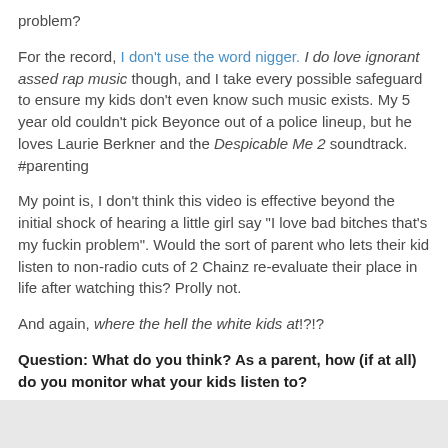problem?
For the record, I don't use the word nigger. I do love ignorant assed rap music though, and I take every possible safeguard to ensure my kids don't even know such music exists. My 5 year old couldn't pick Beyonce out of a police lineup, but he loves Laurie Berkner and the Despicable Me 2 soundtrack. #parenting
My point is, I don't think this video is effective beyond the initial shock of hearing a little girl say "I love bad bitches that's my fuckin problem". Would the sort of parent who lets their kid listen to non-radio cuts of 2 Chainz re-evaluate their place in life after watching this? Prolly not.
And again, where the hell the white kids at!?!?
Question: What do you think? As a parent, how (if at all) do you monitor what your kids listen to?